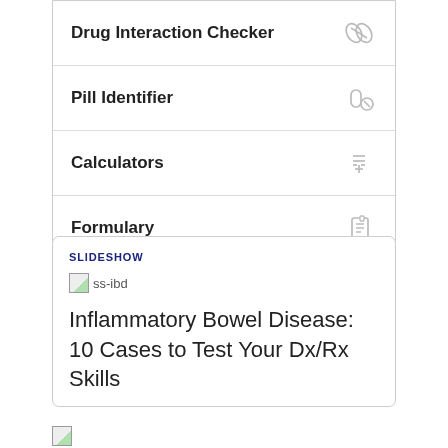Drug Interaction Checker
Pill Identifier
Calculators
Formulary
SLIDESHOW
[Figure (photo): Broken/loading image placeholder labeled ss-ibd]
Inflammatory Bowel Disease: 10 Cases to Test Your Dx/Rx Skills
[Figure (photo): Broken/loading image placeholder at bottom of page]